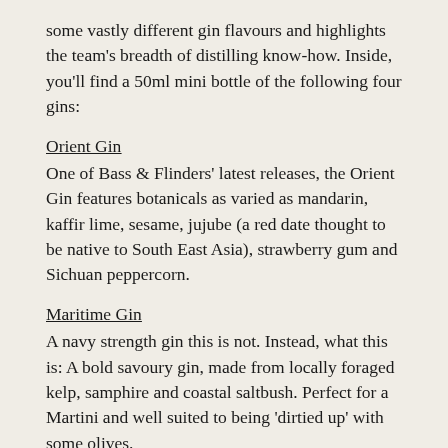some vastly different gin flavours and highlights the team's breadth of distilling know-how. Inside, you'll find a 50ml mini bottle of the following four gins:
Orient Gin
One of Bass & Flinders' latest releases, the Orient Gin features botanicals as varied as mandarin, kaffir lime, sesame, jujube (a red date thought to be native to South East Asia), strawberry gum and Sichuan peppercorn.
Maritime Gin
A navy strength gin this is not. Instead, what this is: A bold savoury gin, made from locally foraged kelp, samphire and coastal saltbush. Perfect for a Martini and well suited to being 'dirtied up' with some olives.
Angry Ant Gin
To the best of our knowledge, this was the first gin in